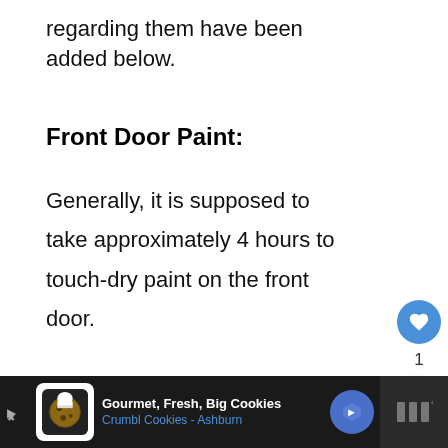regarding them have been added below.
Front Door Paint:
Generally, it is supposed to take approximately 4 hours to touch-dry paint on the front door.
[Figure (infographic): Social sharing UI: heart/like button (blue circle with heart icon), count label '1', and share button (white circle with share icon)]
[Figure (infographic): What's Next panel with thumbnail image of cement/painted surface, label 'WHAT'S NEXT →', and text 'Can You Paint Cement...']
[Figure (infographic): Advertisement bar at bottom: dark background, cookie icon, text 'Gourmet, Fresh, Big Cookies' and 'Crumbl Cookies - Ashburn', blue diamond logo, and right panel with bars icon]